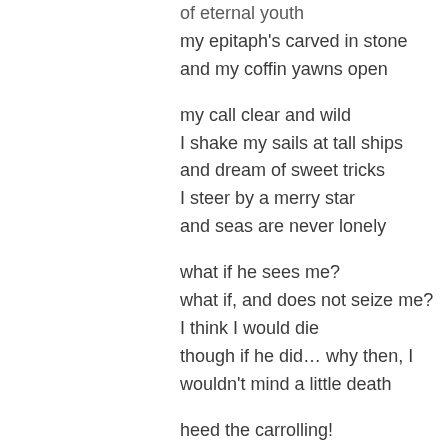of eternal youth
my epitaph's carved in stone
and my coffin yawns open

my call clear and wild
I shake my sails at tall ships
and dream of sweet tricks
I steer by a merry star
and seas are never lonely

what if he sees me?
what if, and does not seize me?
I think I would die
though if he did… why then, I
wouldn't mind a little death

heed the carrolling!
that frumious bandersnatch